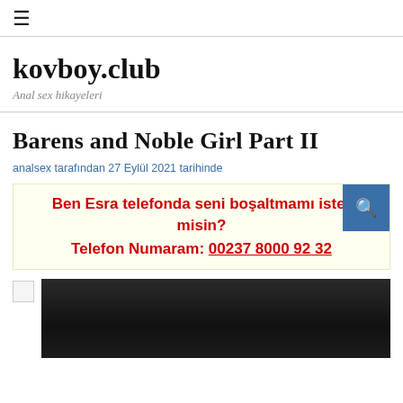☰
kovboy.club
Anal sex hikayeleri
Barens and Noble Girl Part II
analsex tarafından 27 Eylül 2021 tarihinde
Ben Esra telefonda seni boşaltmamı ister misin?
Telefon Numaram: 00237 8000 92 32
[Figure (photo): Dark black and white photograph showing figures at a desk or table with a laptop screen visible]